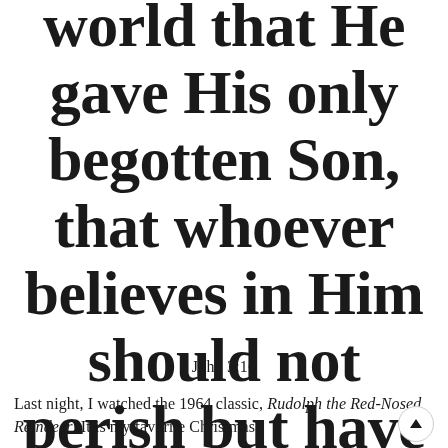world that He gave His only begotten Son, that whoever believes in Him should not perish but have everlasting life.
John 3:16
Last night, I watched the 1964 classic, Rudolph the Red-Nosed Reindeer. It is my favorite Christmas